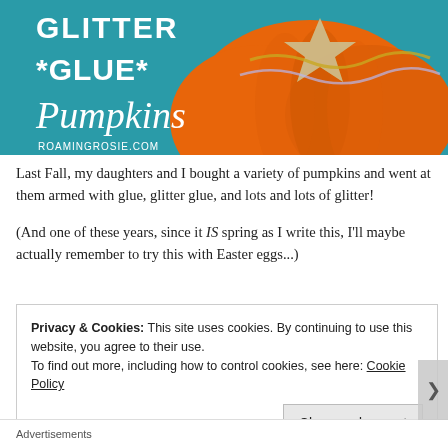[Figure (photo): Blog post header image for 'Glitter Glue Pumpkins' from RoamingRosie.com — shows a close-up of an orange pumpkin decorated with gold and silver glitter on a teal background, with text overlay: GLITTER *GLUE* Pumpkins, RoamingRosie.com]
Last Fall, my daughters and I bought a variety of pumpkins and went at them armed with glue, glitter glue, and lots and lots of glitter!
(And one of these years, since it IS spring as I write this, I'll maybe actually remember to try this with Easter eggs...)
Privacy & Cookies: This site uses cookies. By continuing to use this website, you agree to their use.
To find out more, including how to control cookies, see here: Cookie Policy
Close and accept
Advertisements